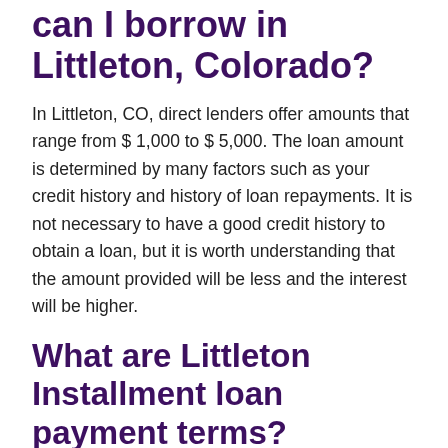can I borrow in Littleton, Colorado?
In Littleton, CO, direct lenders offer amounts that range from $ 1,000 to $ 5,000. The loan amount is determined by many factors such as your credit history and history of loan repayments. It is not necessary to have a good credit history to obtain a loan, but it is worth understanding that the amount provided will be less and the interest will be higher.
What are Littleton Installment loan payment terms?
The convenience of Installment Loans lies in flexible payment terms. You can split the payment into several payments that are convenient for you. The repayment period is up to 12 months. Your ability to pay is key, so it is